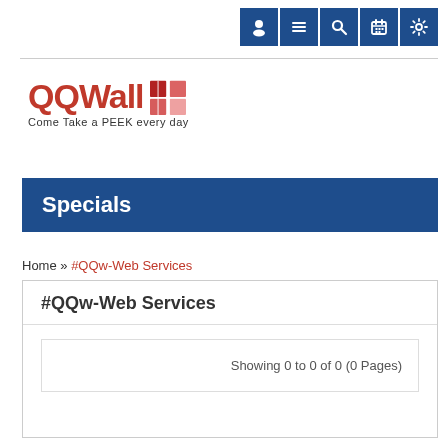[Figure (logo): QQWall logo with red text and red grid icon, tagline 'Come Take a PEEK every day']
Specials
Home » #QQw-Web Services
#QQw-Web Services
Showing 0 to 0 of 0 (0 Pages)